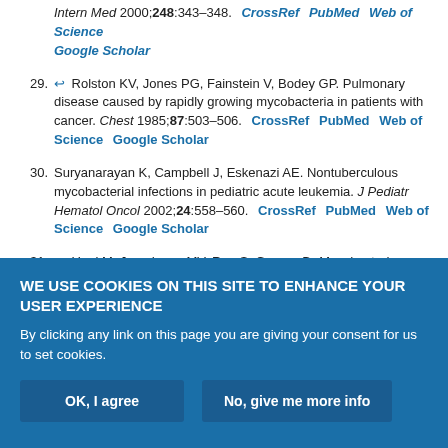Intern Med 2000;248:343–348. CrossRef PubMed Web of Science Google Scholar
29. ↩ Rolston KV, Jones PG, Fainstein V, Bodey GP. Pulmonary disease caused by rapidly growing mycobacteria in patients with cancer. Chest 1985;87:503–506. CrossRef PubMed Web of Science Google Scholar
30. Suryanarayan K, Campbell J, Eskenazi AE. Nontuberculous mycobacterial infections in pediatric acute leukemia. J Pediatr Hematol Oncol 2002;24:558–560. CrossRef PubMed Web of Science Google Scholar
31. ↩ Unni M, Jesudason MV, Rao S, George B. Mycobacterium fortuitum bacteraemia in an immunocompromised patient. Ind J Med Microbiol 2005;23:137–138. Google Scholar
WE USE COOKIES ON THIS SITE TO ENHANCE YOUR USER EXPERIENCE
By clicking any link on this page you are giving your consent for us to set cookies.